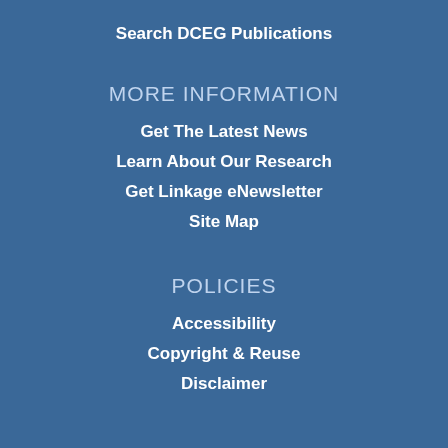Search DCEG Publications
MORE INFORMATION
Get The Latest News
Learn About Our Research
Get Linkage eNewsletter
Site Map
POLICIES
Accessibility
Copyright & Reuse
Disclaimer